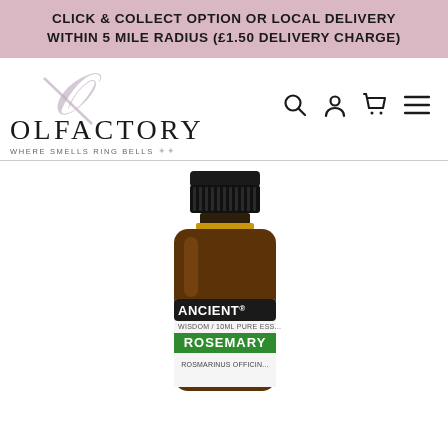CLICK & COLLECT OPTION OR LOCAL DELIVERY WITHIN 5 MILE RADIUS (£1.50 DELIVERY CHARGE)
[Figure (logo): Olfactory logo with decorative O monogram, text OLFACTORY and tagline WHERE SMELLS RING BELLS, plus navigation icons (search, user, cart, menu)]
[Figure (photo): A 10ml amber glass essential oil bottle with black cap, labeled ANCIENT WISDOM / 10ML PURE ESSENTIAL OIL, ROSEMARY, ROSMARINUS OFFICINALIS]